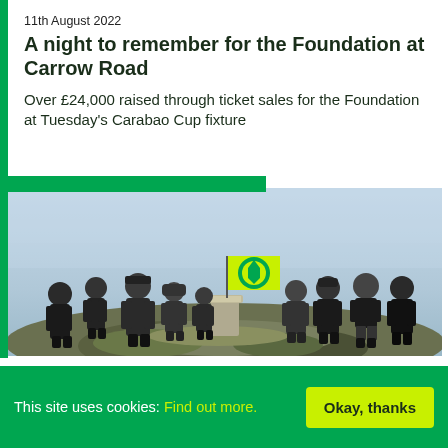11th August 2022
A night to remember for the Foundation at Carrow Road
Over £24,000 raised through ticket sales for the Foundation at Tuesday's Carabao Cup fixture
[Figure (photo): Group of people standing on a rocky hilltop in misty/overcast weather, holding a yellow and green Norwich City FC flag. Everyone is dressed in dark outdoor clothing.]
This site uses cookies: Find out more.
Okay, thanks